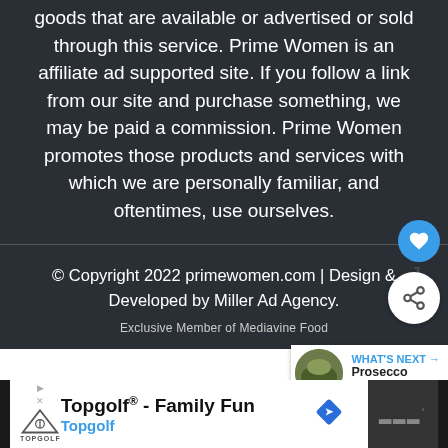goods that are available or advertised or sold through this service. Prime Women is an affiliate ad supported site. If you follow a link from our site and purchase something, we may be paid a commission. Prime Women promotes those products and services with which we are personally familiar, and oftentimes, use ourselves.
© Copyright 2022 primewomen.com | Design & Developed by Miller Ad Agency.
Exclusive Member of Mediavine Food
WHAT'S NEXT → Prosecco Prepares for...
Topgolf® - Family Fun Topgolf